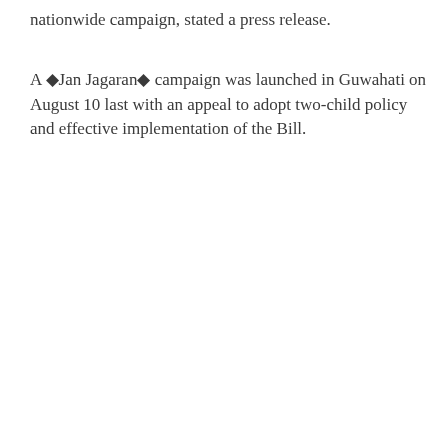nationwide campaign, stated a press release.
A ◆Jan Jagaran◆ campaign was launched in Guwahati on August 10 last with an appeal to adopt two-child policy and effective implementation of the Bill.